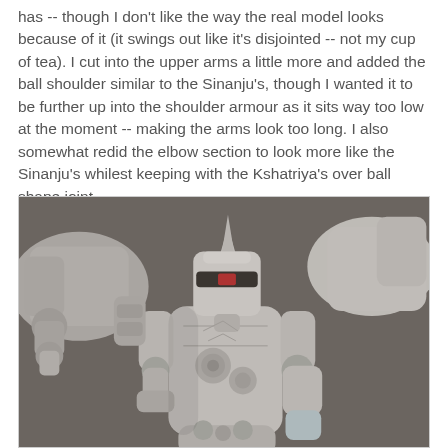has -- though I don't like the way the real model looks because of it (it swings out like it's disjointed -- not my cup of tea). I cut into the upper arms a little more and added the ball shoulder similar to the Sinanju's, though I wanted it to be further up into the shoulder armour as it sits way too low at the moment -- making the arms look too long. I also somewhat redid the elbow section to look more like the Sinanju's whilest keeping with the Kshatriya's over ball shape joint.
[Figure (photo): 3D render or sculpt of a Gundam-style mecha (Kshatriya/Sinanju hybrid) shown from the upper body, viewed slightly from above. The model is grey/light colored against a dark brownish-grey background. The mecha has large shoulder armor pieces extending to the sides, a distinctive head with a horn/crest, and detailed arm/elbow joints visible.]